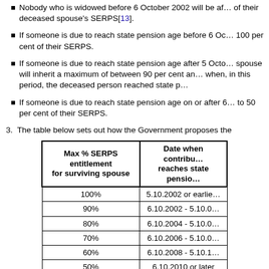Nobody who is widowed before 6 October 2002 will be affected by the changes to the amount of their deceased spouse's SERPS[13].
If someone is due to reach state pension age before 6 October 2002, they will be able to inherit 100 per cent of their SERPS.
If someone is due to reach state pension age after 5 October 2002, the maximum a surviving spouse will inherit a maximum of between 90 per cent and 50 per cent, depending on when, in this period, the deceased person reached state pension age.
If someone is due to reach state pension age on or after 6 October 2010, they will be limited to 50 per cent of their SERPS.
3.  The table below sets out how the Government proposes the
| Max % SERPS entitlement for surviving spouse | Date when contributor reaches state pension age |
| --- | --- |
| 100% | 5.10.2002 or earlier |
| 90% | 6.10.2002 - 5.10.0... |
| 80% | 6.10.2004 - 5.10.0... |
| 70% | 6.10.2006 - 5.10.0... |
| 60% | 6.10.2008 - 5.10.1... |
| 50% | 6.10.2010 or later |
4. The phasingin period overlaps at the end with the start of the ... that the 60% tranche will be the widowers of those women wh...